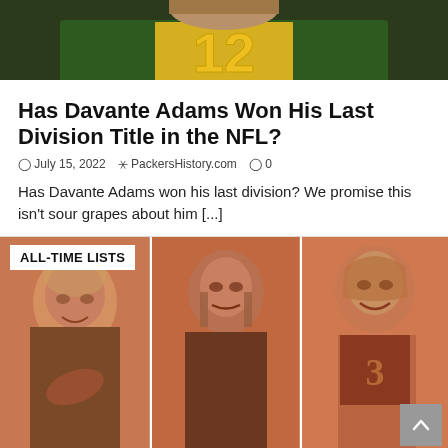[Figure (photo): Green Bay Packers football player wearing green jersey with yellow number 12, close-up crop showing torso and partial face]
Has Davante Adams Won His Last Division Title in the NFL?
July 15, 2022  PackersHistory.com  0
Has Davante Adams won his last division? We promise this isn't sour grapes about him [...]
[Figure (photo): Three sepia-toned vintage football player photos arranged side by side under 'ALL-TIME LISTS' label]